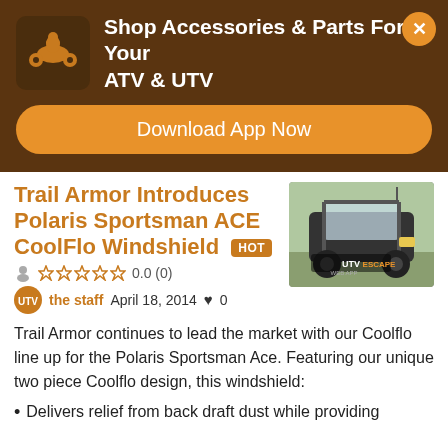[Figure (infographic): App promotion banner with ATV icon, title 'Shop Accessories & Parts For Your ATV & UTV', close button (X), and 'Download App Now' orange button]
Trail Armor Introduces Polaris Sportsman ACE CoolFlo Windshield HOT
0.0 (0)
the staff  April 18, 2014  ♥ 0
[Figure (photo): Photo of a Polaris Sportsman ACE UTV vehicle with windshield, parked outdoors. 'UTV ESCAPE' watermark visible.]
Trail Armor continues to lead the market with our Coolflo line up for the Polaris Sportsman Ace. Featuring our unique two piece Coolflo design, this windshield:
Delivers relief from back draft dust while providing